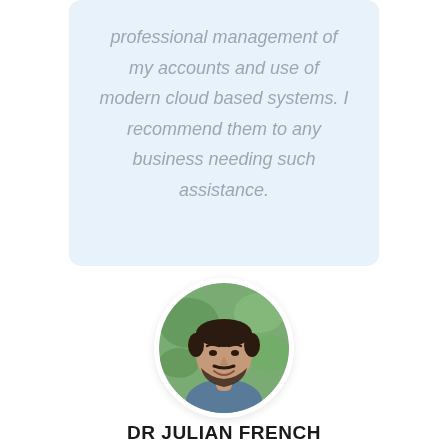professional management of my accounts and use of modern cloud based systems. I recommend them to any business needing such assistance.
[Figure (photo): Circular portrait photo of Dr Julian French, a man with dark hair and beard, smiling, outdoors with green background.]
DR JULIAN FRENCH
Owner - Adelaide Hills Family Dental